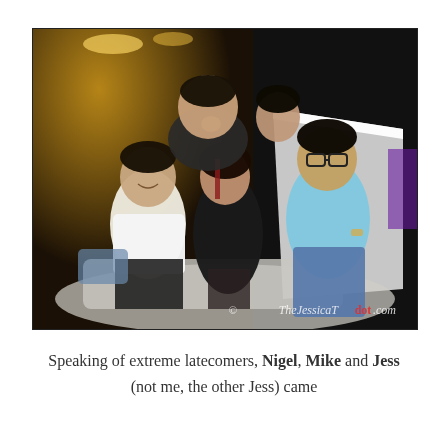[Figure (photo): A group photo of five young Asian people at what appears to be a nightclub or upscale lounge. They are posing together on white furniture. A man in a white shirt sits on the left, a woman in a black outfit sits in the center, a larger man in a dark shirt stands behind on the left, a woman in a dark outfit peeks from behind in the middle-back, and a man in a light blue polo shirt stands on the right wearing glasses. The background shows warm golden lighting from the lounge interior on the left and white/purple accent lighting on the right. A watermark reads '© TheJessicaTdot.com' in the lower right corner of the photo.]
Speaking of extreme latecomers, Nigel, Mike and Jess (not me, the other Jess) came